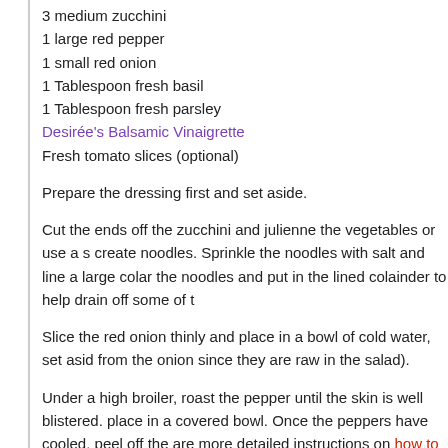3 medium zucchini
1 large red pepper
1 small red onion
1 Tablespoon fresh basil
1 Tablespoon fresh parsley
Desirée's Balsamic Vinaigrette
Fresh tomato slices (optional)
Prepare the dressing first and set aside.
Cut the ends off the zucchini and julienne the vegetables or use a s create noodles. Sprinkle the noodles with salt and line a large colar the noodles and put in the lined colainder to help drain off some of t
Slice the red onion thinly and place in a bowl of cold water, set asid from the onion since they are raw in the salad).
Under a high broiler, roast the pepper until the skin is well blistered. place in a covered bowl. Once the peppers have cooled, peel off the are more detailed instructions on how to prepare roasted red peppe roasted red peppers).
Place the chopped red pepper, soaked onion slices and fresh herbs